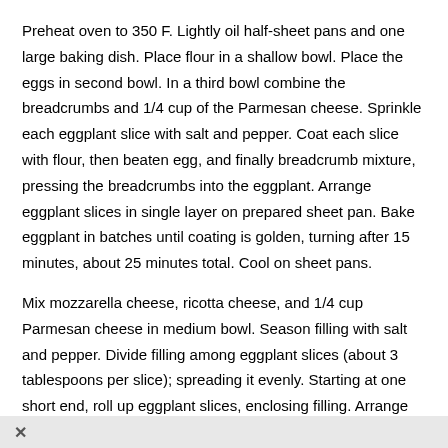Preheat oven to 350 F. Lightly oil half-sheet pans and one large baking dish. Place flour in a shallow bowl. Place the eggs in second bowl. In a third bowl combine the breadcrumbs and 1/4 cup of the Parmesan cheese. Sprinkle each eggplant slice with salt and pepper. Coat each slice with flour, then beaten egg, and finally breadcrumb mixture, pressing the breadcrumbs into the eggplant. Arrange eggplant slices in single layer on prepared sheet pan. Bake eggplant in batches until coating is golden, turning after 15 minutes, about 25 minutes total. Cool on sheet pans.
Mix mozzarella cheese, ricotta cheese, and 1/4 cup Parmesan cheese in medium bowl. Season filling with salt and pepper. Divide filling among eggplant slices (about 3 tablespoons per slice); spreading it evenly. Starting at one short end, roll up eggplant slices, enclosing filling. Arrange rolls, seam side down, in prepared baking dish. (Can be made a day ahead. Cover and chill.)
✕